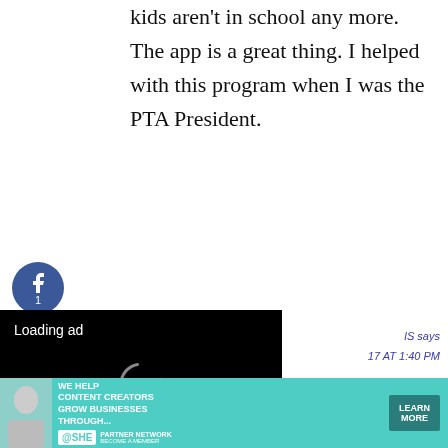kids aren't in school any more. The app is a great thing. I helped with this program when I was the PTA President.
[Figure (other): Social media share buttons: Facebook (with count 1), Twitter, and Pinterest]
Reply
[Figure (other): Video ad player showing 'Loading ad' with spinner and playback controls (pause, expand, mute)]
IS says
17 AT 1:40 PM
[Figure (other): Close button X]
[Figure (other): Advertisement banner: SHE Media Partner Network - We help content creators grow businesses through... Learn More]